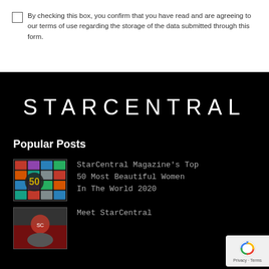By checking this box, you confirm that you have read and are agreeing to our terms of use regarding the storage of the data submitted through this form.
STARCENTRAL
Popular Posts
[Figure (photo): Thumbnail image for StarCentral Magazine's Top 50 Most Beautiful Women In The World 2020 article, showing a collage of women with a gold 50 emblem]
StarCentral Magazine's Top 50 Most Beautiful Women In The World 2020
[Figure (photo): Thumbnail image for Meet StarCentral article]
Meet StarCentral
[Figure (logo): Google reCAPTCHA badge with Privacy and Terms links]